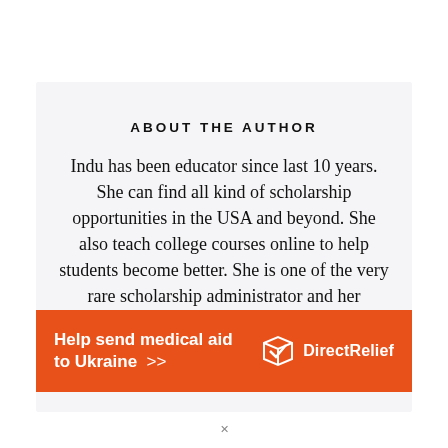ABOUT THE AUTHOR
Indu has been educator since last 10 years. She can find all kind of scholarship opportunities in the USA and beyond. She also teach college courses online to help students become better. She is one of the very rare scholarship administrator and her
[Figure (infographic): Orange advertisement banner: 'Help send medical aid to Ukraine >>' with Direct Relief logo on the right side.]